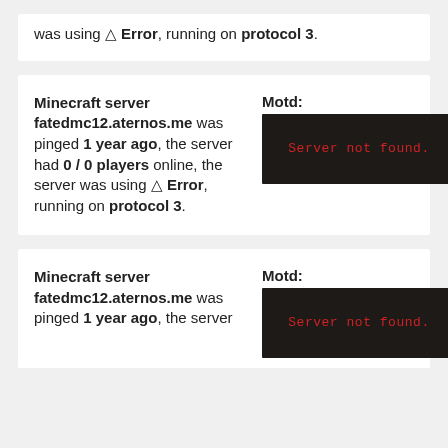was using ⚠ Error, running on protocol 3.
Minecraft server fatedmc12.aternos.me was pinged 1 year ago, the server had 0 / 0 players online, the server was using ⚠ Error, running on protocol 3.
[Figure (screenshot): Dark Minecraft-style MOTD box with red monospace text reading 'Server not found.']
Minecraft server fatedmc12.aternos.me was pinged 1 year ago, the server
[Figure (screenshot): Dark Minecraft-style MOTD box with red monospace text reading 'Server not found.']